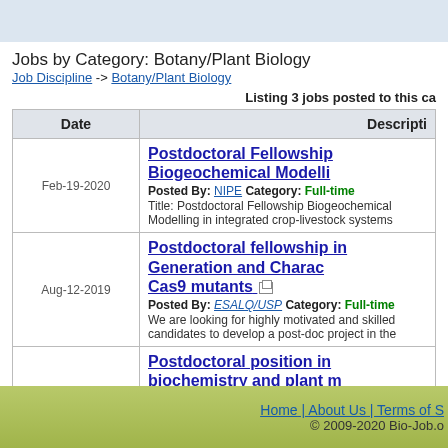Jobs by Category: Botany/Plant Biology
Job Discipline -> Botany/Plant Biology
Listing 3 jobs posted to this ca...
| Date | Description |
| --- | --- |
| Feb-19-2020 | Postdoctoral Fellowship Biogeochemical Modelli...
Posted By: NIPE Category: Full-time
Title: Postdoctoral Fellowship Biogeochemical Modelling in integrated crop-livestock systems |
| Aug-12-2019 | Postdoctoral fellowship in Generation and Charac... Cas9 mutants
Posted By: ESALQ/USP Category: Full-time
We are looking for highly motivated and skilled candidates to develop a post-doc project in the... |
| Apr-24-2018 | Postdoctoral position in biochemistry and plant m...
Posted By: Université catholique de Louvain Category: Full-time
<font face="Times New Roman" size="3"> </font> <p style="margin: 0px 0px 11px;"><b style=... |
Home | About Us | Terms of S... © 2009-2020 Bio-Job.o...